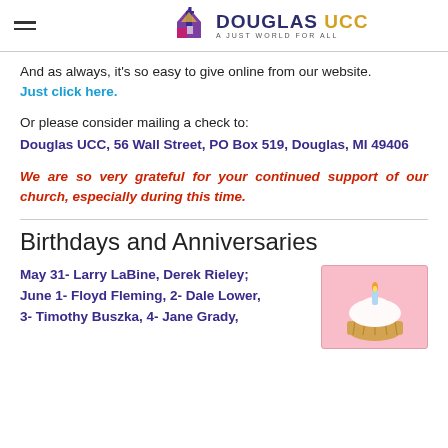DOUGLAS UCC — A JUST WORLD FOR ALL
And as always, it's so easy to give online from our website. Just click here.
Or please consider mailing a check to:
Douglas UCC, 56 Wall Street, PO Box 519, Douglas, MI 49406
We are so very grateful for your continued support of our church, especially during this time.
Birthdays and Anniversaries
May 31- Larry LaBine, Derek Rieley; June 1- Floyd Fleming, 2- Dale Lower, 3- Timothy Buszka, 4- Jane Grady,
[Figure (photo): A cupcake with a lit candle on a pink background]